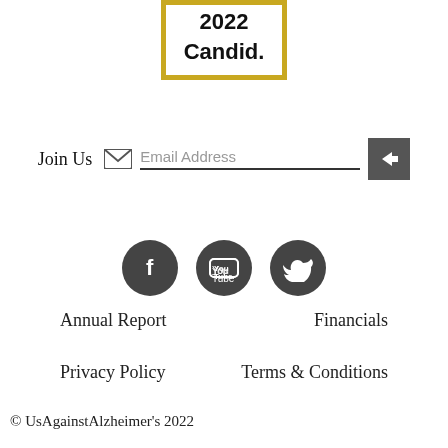[Figure (logo): Candid 2022 badge with gold border showing year '2022' and text 'Candid.']
Join Us  Email Address →
[Figure (infographic): Three social media icons: Facebook, YouTube, Twitter (dark circular buttons)]
Annual Report
Financials
Privacy Policy
Terms & Conditions
© UsAgainstAlzheimer's 2022